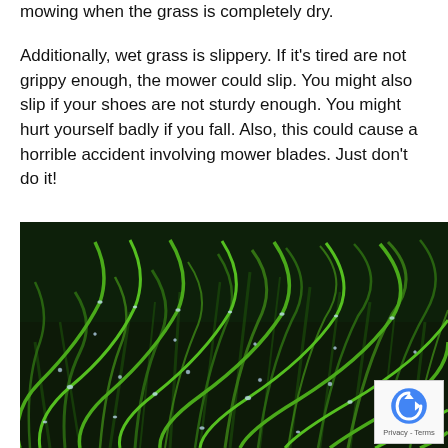mowing when the grass is completely dry.
Additionally, wet grass is slippery. If it's tired are not grippy enough, the mower could slip. You might also slip if your shoes are not sturdy enough. You might hurt yourself badly if you fall. Also, this could cause a horrible accident involving mower blades. Just don't do it!
[Figure (photo): Close-up photograph of wet grass blades covered in water droplets, with a dark background. A reCAPTCHA privacy badge is overlaid in the bottom-right corner.]